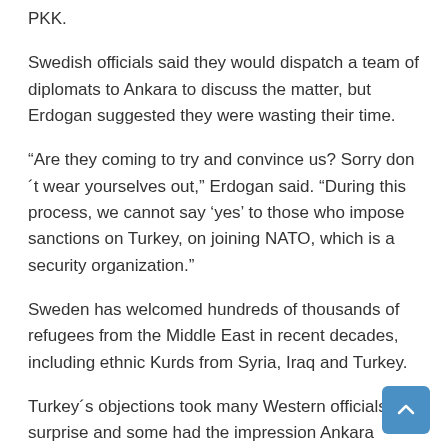PKK.
Swedish officials said they would dispatch a team of diplomats to Ankara to discuss the matter, but Erdogan suggested they were wasting their time.
“Are they coming to try and convince us? Sorry don´t wear yourselves out,” Erdogan said. “During this process, we cannot say ‘yes’ to those who impose sanctions on Turkey, on joining NATO, which is a security organization.”
Sweden has welcomed hundreds of thousands of refugees from the Middle East in recent decades, including ethnic Kurds from Syria, Iraq and Turkey.
Turkey´s objections took many Western officials by surprise and some had the impression Ankara would not let the issue spoil the NATO expansion. NATO Secretary-General Jens Stoltenberg over the weekend said “Turkey has made it clear that their intention is not to block membership.”